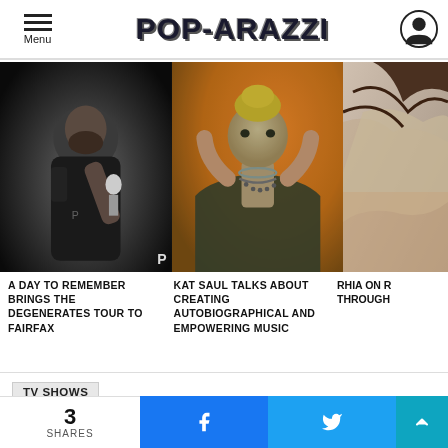POP-ARAZZI
[Figure (photo): Bearded man singing into microphone at concert, dark background]
[Figure (photo): Blonde woman with hands behind head against orange background]
[Figure (photo): Partial photo of person, cropped on right edge]
A DAY TO REMEMBER BRINGS THE DEGENERATES TOUR TO FAIRFAX
KAT SAUL TALKS ABOUT CREATING AUTOBIOGRAPHICAL AND EMPOWERING MUSIC
RHIA ON R THROUGH
TV SHOWS
Review: Idiotsitter's Second